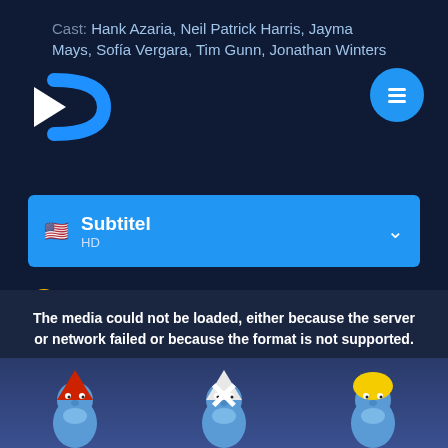Cast: Hank Azaria, Neil Patrick Harris, Jayma Mays, Sofía Vergara, Tim Gunn, Jonathan Winters
[Figure (logo): Streaming app logo with play button and curved C shape in blue]
[Figure (illustration): Blue circular menu button with hamburger icon]
Subtitel HD
Download HD
This video option does not contain pop-up windows and the load is optimal, you can watch without cuts.
The media could not be loaded, either because the server or network failed or because the format is not supported.
[Figure (screenshot): Smurfs movie characters at bottom of screen with X close button overlay]